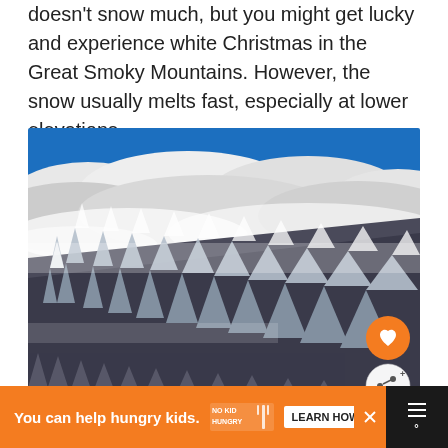doesn't snow much, but you might get lucky and experience white Christmas in the Great Smoky Mountains. However, the snow usually melts fast, especially at lower elevations.
[Figure (photo): Snow-covered conifer trees on a mountainside in the Great Smoky Mountains, with white fog/clouds and a blue sky above. Two action buttons (heart/favorite and share) overlay the bottom-right of the image.]
You can help hungry kids. NO KID HUNGRY LEARN HOW